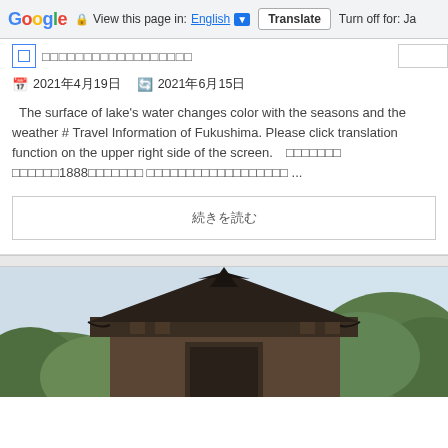Google  View this page in: English [▼]  Translate  Turn off for: Ja
□□□□□□□□□□□□□□□□□□
📅 2021年4月19日   🔄 2021年6月15日
The surface of lake's water changes color with the seasons and the weather # Travel Information of Fukushima. Please click translation function on the upper right side of the screen.　□□□□□□□ □□□□□□1888□□□□□□□ □□□□□□□□□□□□□□□□□□ ...
続きを読む
[Figure (photo): Photo of a traditional Japanese temple or shrine roof with surrounding green trees, viewed from below at an angle.]